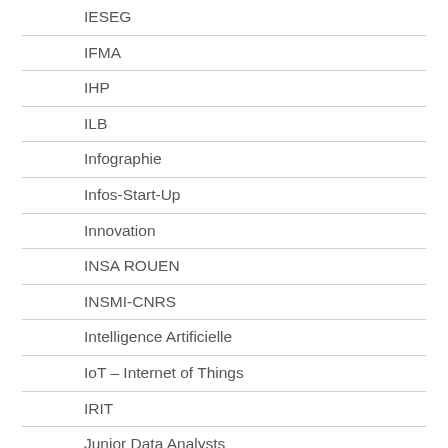IESEG
IFMA
IHP
ILB
Infographie
Infos-Start-Up
Innovation
INSA ROUEN
INSMI-CNRS
Intelligence Artificielle
IoT – Internet of Things
IRIT
Junior Data Analysts
Kafka
LABO CeRCA